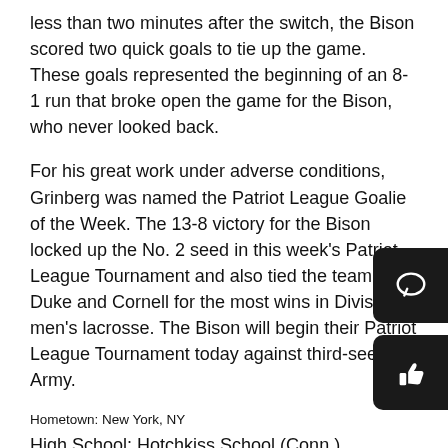less than two minutes after the switch, the Bison scored two quick goals to tie up the game. These goals represented the beginning of an 8-1 run that broke open the game for the Bison, who never looked back.
For his great work under adverse conditions, Grinberg was named the Patriot League Goalie of the Week. The 13-8 victory for the Bison locked up the No. 2 seed in this week's Patriot League Tournament and also tied the team with Duke and Cornell for the most wins in Division I men's lacrosse. The Bison will begin their Patriot League Tournament today against third-seeded Army.
Hometown: New York, NY
High School: Hotchkiss School (Conn.)
Height/Weight: 5-8/185
Stats: